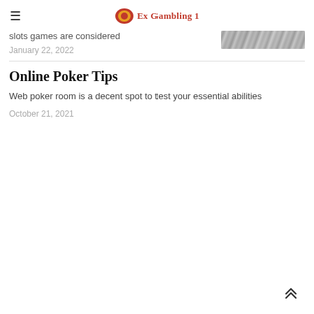Ex Gambling 1
slots games are considered
January 22, 2022
Online Poker Tips
Web poker room is a decent spot to test your essential abilities
October 21, 2021